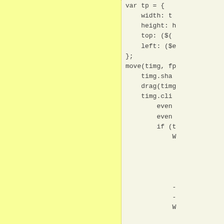[Figure (other): Yellow highlighted panel on the left side of the page, serving as a code annotation/margin area]
var tp = {
    width: t
    height: h
    top: ($(
    left: ($e
};
move(timg, fp
    timg.sha
    drag(timg
    timg.cli
        even
        even
        if (t
            W




            -
            -
            W





            T
            T
            h
            h



p